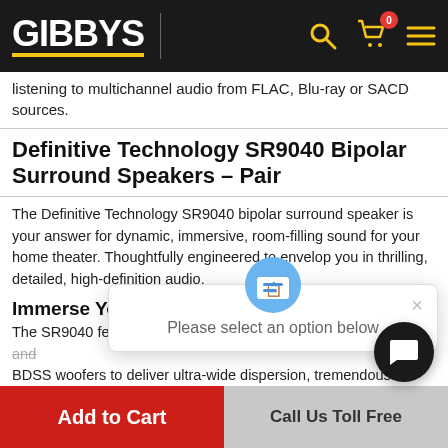GIBBYS [navigation bar with search, cart, menu icons]
listening to multichannel audio from FLAC, Blu-ray or SACD sources.
Definitive Technology SR9040 Bipolar Surround Speakers – Pair
The Definitive Technology SR9040 bipolar surround speaker is your answer for dynamic, immersive, room-filling sound for your home theater. Thoughtfully engineered to envelop you in thrilling, detailed, high-definition audio.
Immerse Yourself
The SR9040 features a... array that integrates A... Dome tweeters and BDSS woofers to deliver ultra-wide dispersion, tremendous dynamic range, and ultra HD det... the ultimate in total sonic immersion.
Please select an option below
Bipolar L/R Array for an ultra-wide
Add to Cart
Call Us Toll Free